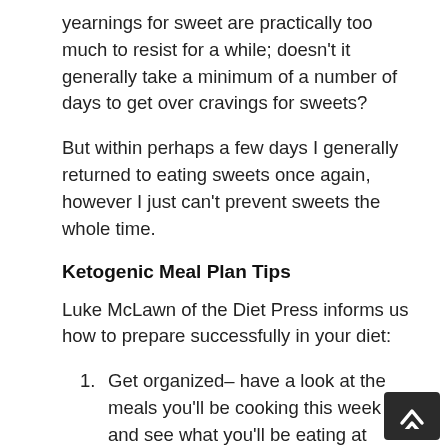yearnings for sweet are practically too much to resist for a while; doesn’t it generally take a minimum of a number of days to get over cravings for sweets?
But within perhaps a few days I generally returned to eating sweets once again, however I just can’t prevent sweets the whole time.
Ketogenic Meal Plan Tips
Luke McLawn of the Diet Press informs us how to prepare successfully in your diet:
Get organized– have a look at the meals you’ll be cooking this week and see what you’ll be eating at dinnertime.
Preparation ahead– when you work up a meal ensure there’s something to consume instantly